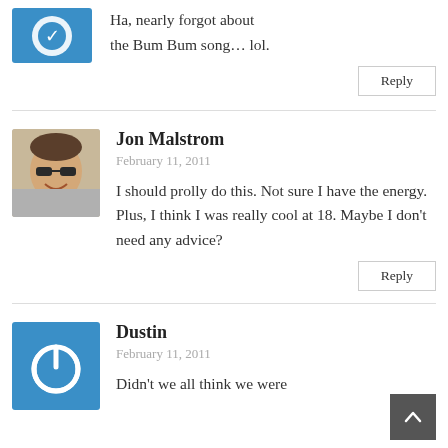[Figure (illustration): Blue avatar icon (partial, cropped at top)]
Ha, nearly forgot about the Bum Bum song… lol.
Reply
[Figure (photo): Photo of Jon Malstrom wearing sunglasses, sitting in a car]
Jon Malstrom
February 11, 2011
I should prolly do this. Not sure I have the energy. Plus, I think I was really cool at 18. Maybe I don't need any advice?
Reply
[Figure (illustration): Blue square avatar with white power button icon for Dustin]
Dustin
February 11, 2011
Didn't we all think we were